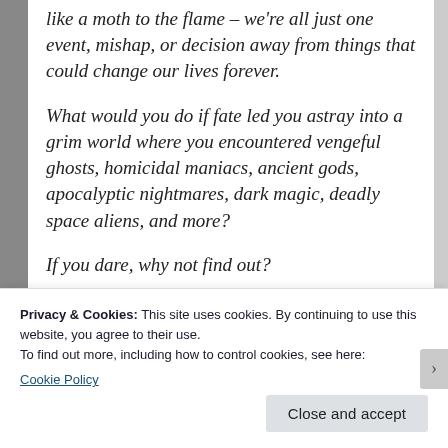like a moth to the flame – we're all just one event, mishap, or decision away from things that could change our lives forever.
What would you do if fate led you astray into a grim world where you encountered vengeful ghosts, homicidal maniacs, ancient gods, apocalyptic nightmares, dark magic, deadly space aliens, and more?
If you dare, why not find out?
Read for yourself the twenty-two gloriously
Privacy & Cookies: This site uses cookies. By continuing to use this website, you agree to their use.
To find out more, including how to control cookies, see here:
Cookie Policy